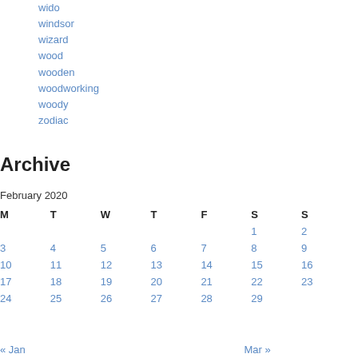wido
windsor
wizard
wood
wooden
woodworking
woody
zodiac
Archive
February 2020
| M | T | W | T | F | S | S |
| --- | --- | --- | --- | --- | --- | --- |
|  |  |  |  |  | 1 | 2 |
| 3 | 4 | 5 | 6 | 7 | 8 | 9 |
| 10 | 11 | 12 | 13 | 14 | 15 | 16 |
| 17 | 18 | 19 | 20 | 21 | 22 | 23 |
| 24 | 25 | 26 | 27 | 28 | 29 |  |
« Jan   Mar »